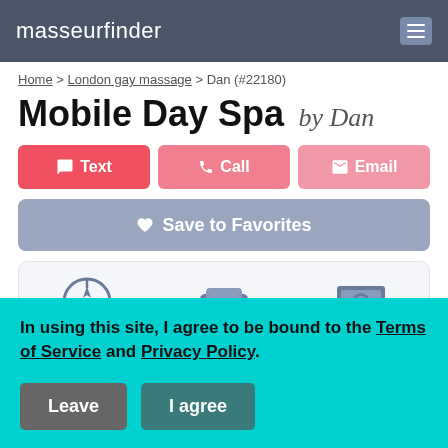masseurfinder
Home > London gay massage > Dan (#22180)
Mobile Day Spa by Dan
Text | Call | Email
Save to Favorites
[Figure (infographic): Three icons: compass/location, car, and dollar bill]
In using this site, I agree to be bound to the Terms of Service and Privacy Policy.
Leave | I agree